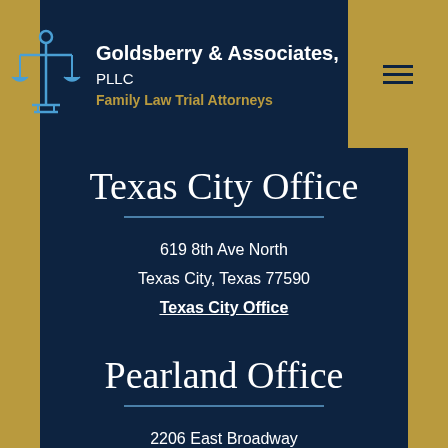Goldsberry & Associates, PLLC — Family Law Trial Attorneys
Texas City Office
619 8th Ave North
Texas City, Texas 77590
Texas City Office
Pearland Office
2206 East Broadway
Suite E
Pearland, Texas 77581
Pearland Office